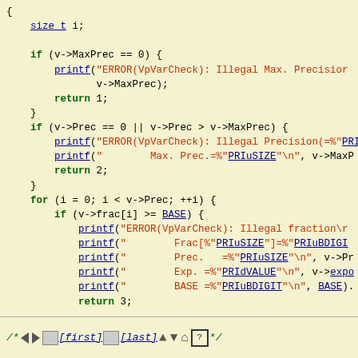[Figure (screenshot): Source code snippet in C showing a function body with if-checks for MaxPrec and Prec, a for-loop checking frac[i] >= BASE, with printf error messages and return statements. Syntax highlighted: keywords in bold green, function names and macros underlined blue, strings in red.]
/* [first] [last] */ navigation bar with triangle and home/help icons